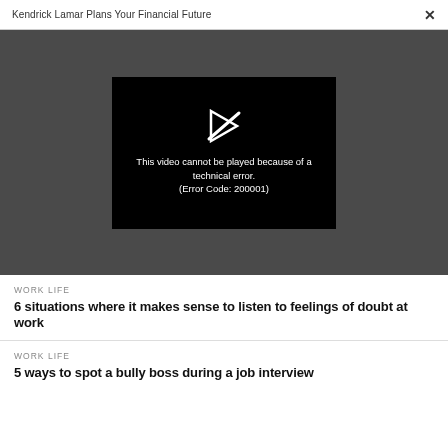Kendrick Lamar Plans Your Financial Future  ×
[Figure (screenshot): Video player showing error message on dark background: 'This video cannot be played because of a technical error. (Error Code: 200001)' with a broken play button icon]
WORK LIFE
6 situations where it makes sense to listen to feelings of doubt at work
WORK LIFE
5 ways to spot a bully boss during a job interview